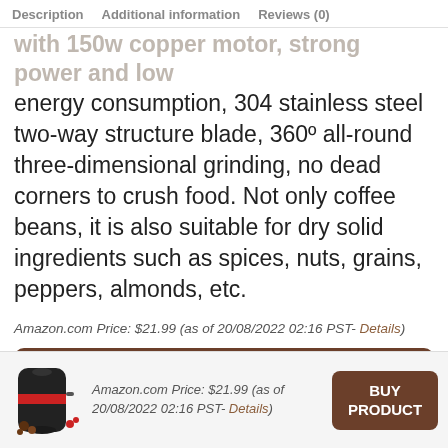Description   Additional information   Reviews (0)
with 150w copper motor, strong power and low energy consumption, 304 stainless steel two-way structure blade, 360º all-round three-dimensional grinding, no dead corners to crush food. Not only coffee beans, it is also suitable for dry solid ingredients such as spices, nuts, grains, peppers, almonds, etc.
Amazon.com Price: $21.99 (as of 20/08/2022 02:16 PST- Details)
BUY PRODUCT
[Figure (photo): Small coffee/spice grinder product image with red accent band]
Amazon.com Price: $21.99 (as of 20/08/2022 02:16 PST- Details)
BUY PRODUCT